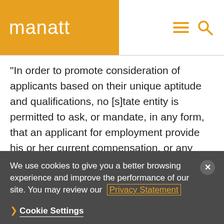manatt
“In order to promote consideration of applicants based on their unique aptitude and qualifications, no [s]tate entity is permitted to ask, or mandate, in any form, that an applicant for employment provide his or her current compensation, or any prior compensation history, until such time as the applicant is extended a conditional offer of employment with compensation,” according to the
We use cookies to give you a better browsing experience and improve the performance of our site. You may review our Privacy Statement
Cookie Settings